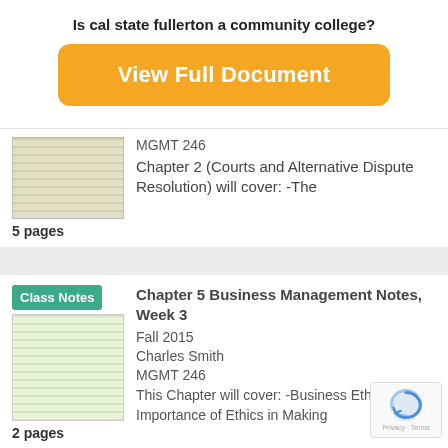Is cal state fullerton a community college?
[Figure (other): Orange 'View Full Document' button]
[Figure (photo): Thumbnail of handwritten class notes document, 5 pages]
MGMT 246
Chapter 2 (Courts and Alternative Dispute Resolution) will cover: -The
[Figure (photo): Thumbnail of handwritten class notes document with Class Notes badge, 2 pages]
Class Notes
Chapter 5 Business Management Notes, Week 3
Fall 2015
Charles Smith
MGMT 246
This Chapter will cover: -Business Ethics -Importance of Ethics in Making